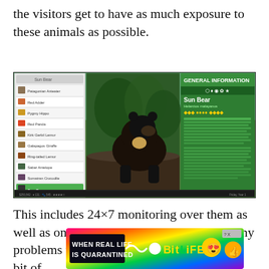the visitors get to have as much exposure to these animals as possible.
[Figure (screenshot): A screenshot of a zoo simulation video game (Planet Zoo or similar) showing a Sun Bear enclosure screen with the animal list on the left, a 3D rendered sun bear in a lush environment in the center, and a green information panel on the right showing 'Sun Bear' with general information text.]
This includes 24×7 monitoring over them as well as on-site vets that will help to solve any problems that arise.
[Figure (screenshot): A colorful advertisement banner for 'BitLife' mobile game with rainbow gradient background, black text block reading 'WHEN REAL LIFE IS QUARANTINED', a squiggle connector, yellow BitLife logo text, and emoji icons including a star-eyes face and a thumbs-up face wearing a mask. Has a close button (? X) in top right corner.]